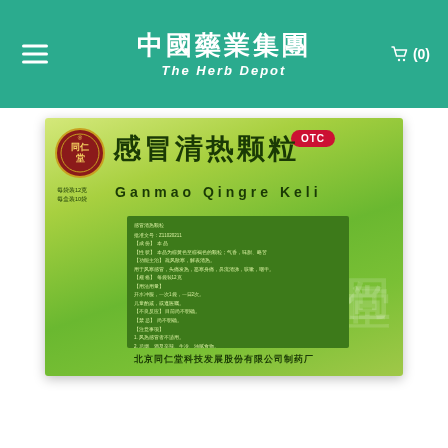中國藥業集團 The Herb Depot
[Figure (photo): Product packaging box for Ganmao Qingre Keli (感冒清热颗粒), a traditional Chinese medicine granule product by Beijing Tong Ren Tang. The box is green with the Tong Ren Tang circular logo, OTC badge in red, large Chinese characters for the product name, romanized pinyin name 'Ganmao Qingre Keli', a darker green information panel with small Chinese text listing ingredients and directions, and the manufacturer name at the bottom: 北京同仁堂科技发展股份有限公司制药厂.]